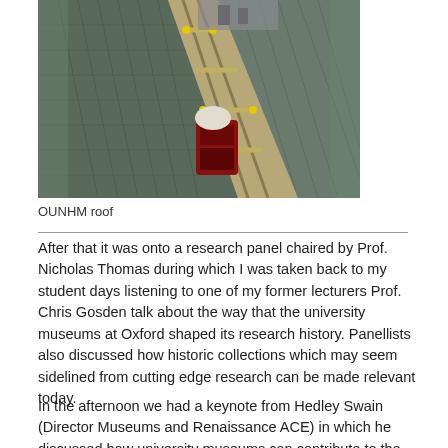[Figure (photo): Aerial view of OUNHM roof with scaffolding, workers, and roofing materials visible between slate angled roof panels and scaffolding structure]
OUNHM roof
After that it was onto a research panel chaired by Prof. Nicholas Thomas during which I was taken back to my student days listening to one of my former lecturers Prof. Chris Gosden talk about the way that the university museums at Oxford shaped its research history. Panellists also discussed how historic collections which may seem sidelined from cutting edge research can be made relevant today.
In the afternoon we had a keynote from Hedley Swain (Director Museums and Renaissance ACE) in which he discussed how university museums can contribute to the wider museums sector